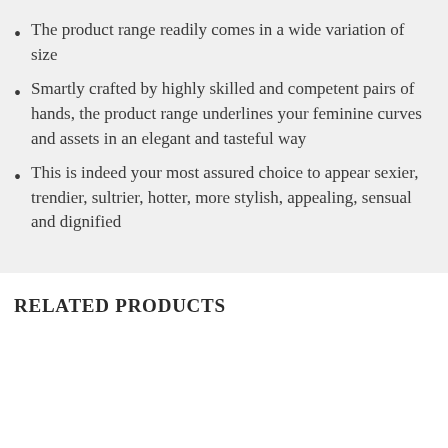The product range readily comes in a wide variation of size
Smartly crafted by highly skilled and competent pairs of hands, the product range underlines your feminine curves and assets in an elegant and tasteful way
This is indeed your most assured choice to appear sexier, trendier, sultrier, hotter, more stylish, appealing, sensual and dignified
RELATED PRODUCTS